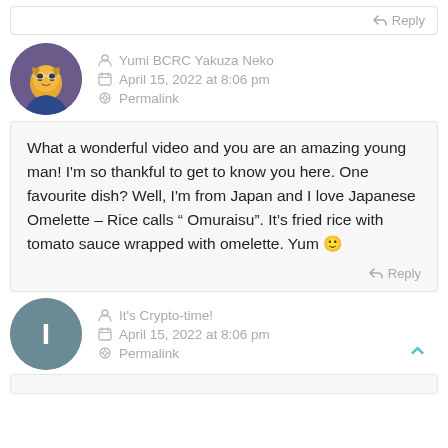Reply
Yumi BCRC Yakuza Neko
April 15, 2022 at 8:06 pm
Permalink
What a wonderful video and you are an amazing young man! I'm so thankful to get to know you here. One favourite dish? Well, I'm from Japan and I love Japanese Omelette – Rice calls " Omuraisu". It's fried rice with tomato sauce wrapped with omelette. Yum 🙂
Reply
It's Crypto-time!
April 15, 2022 at 8:06 pm
Permalink